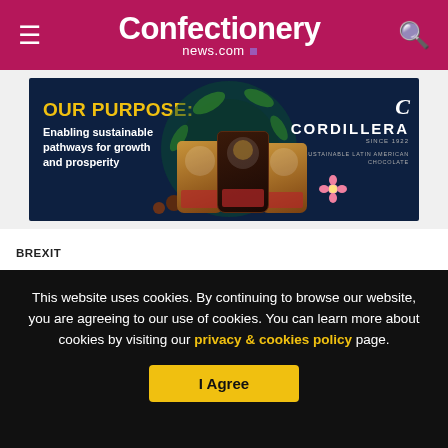Confectionery news.com
[Figure (illustration): Cordillera chocolate brand advertisement banner. Dark navy background with text 'OUR PURPOSE: Enabling sustainable pathways for growth and prosperity' on the left, chocolate product bags in the center, and Cordillera logo with 'Sustainable Latin American Chocolate' on the right.]
BREXIT
Brexit transition: time is running out
This website uses cookies. By continuing to browse our website, you are agreeing to our use of cookies. You can learn more about cookies by visiting our privacy & cookies policy page.
I Agree